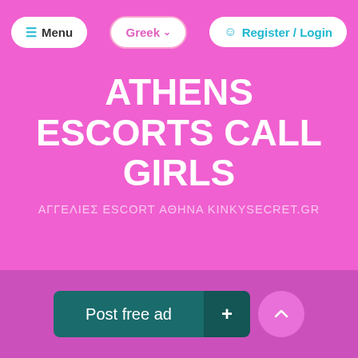[Figure (screenshot): Website navigation bar with Menu button (hamburger icon), Greek language selector with dropdown, and Register/Login button on a pink background]
ATHENS ESCORTS CALL GIRLS
ΑΓΓΕΛΙΕΣ ESCORT ΑΘΗΝΑ KINKYSECRET.GR
[Figure (screenshot): Bottom action bar with 'Post free ad' button with plus icon and scroll-to-top arrow button on a darker pink background]